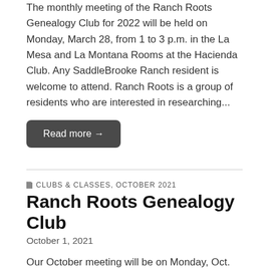The monthly meeting of the Ranch Roots Genealogy Club for 2022 will be held on Monday, March 28, from 1 to 3 p.m. in the La Mesa and La Montana Rooms at the Hacienda Club. Any SaddleBrooke Ranch resident is welcome to attend. Ranch Roots is a group of residents who are interested in researching...
Read more →
CLUBS & CLASSES, OCTOBER 2021
Ranch Roots Genealogy Club
October 1, 2021
Our October meeting will be on Monday, Oct. 25, from 1 to 3 p.m. in the La Mesa and La Montana rooms. Any resident of SaddleBrooke Ranch is welcome to attend, check out our group and see if this is something you might be interested in joining. This month our speaker/presenter will be resident